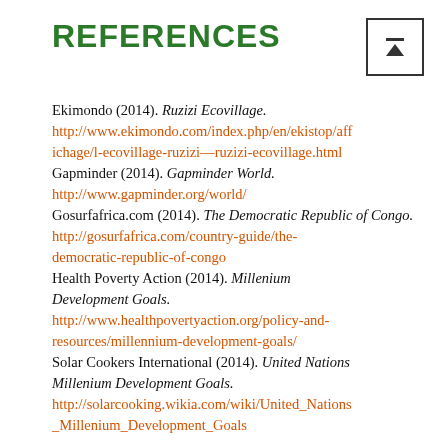REFERENCES
Ekimondo (2014). Ruzizi Ecovillage. http://www.ekimondo.com/index.php/en/ekistop/affichage/l-ecovillage-ruzizi—ruzizi-ecovillage.html
Gapminder (2014). Gapminder World. http://www.gapminder.org/world/
Gosurfafrica.com (2014). The Democratic Republic of Congo. http://gosurfafrica.com/country-guide/the-democratic-republic-of-congo
Health Poverty Action (2014). Millenium Development Goals. http://www.healthpovertyaction.org/policy-and-resources/millennium-development-goals/
Solar Cookers International (2014). United Nations Millenium Development Goals. http://solarcooking.wikia.com/wiki/United_Nations_Millenium_Development_Goals